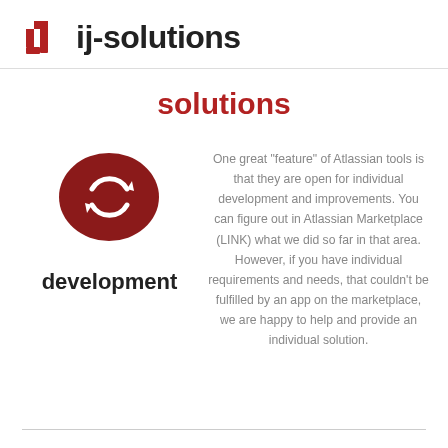ij-solutions
solutions
[Figure (logo): Dark red ellipse with white circular refresh/sync arrow icon]
development
One great "feature" of Atlassian tools is that they are open for individual development and improvements. You can figure out in Atlassian Marketplace (LINK) what we did so far in that area. However, if you have individual requirements and needs, that couldn't be fulfilled by an app on the marketplace, we are happy to help and provide an individual solution.